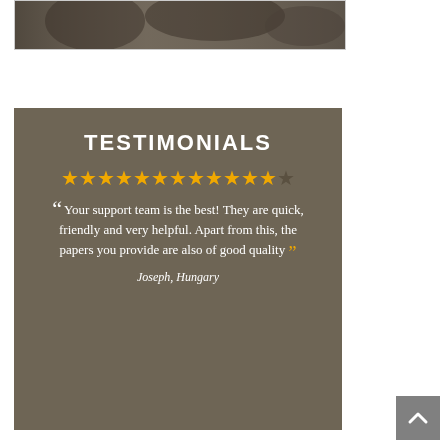[Figure (photo): Top portion of a blurred dark photo, partially visible at the top of the page]
[Figure (infographic): Testimonials card with brown/olive background. Title 'TESTIMONIALS' in white uppercase letters. 12 gold stars and 1 dark star rating. Opening quote marks followed by quote: 'Your support team is the best! They are quick, friendly and very helpful. Apart from this, the papers you provide are also of good quality' with closing quote marks. Attribution: Joseph, Hungary in italic white text.]